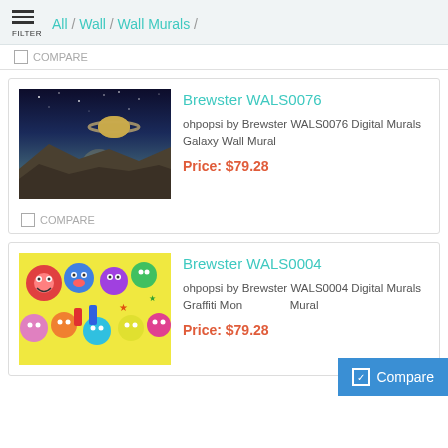All / Wall / Wall Murals /
COMPARE
Brewster WALS0076
ohpopsi by Brewster WALS0076 Digital Murals Galaxy Wall Mural
Price: $79.28
COMPARE
Brewster WALS0004
ohpopsi by Brewster WALS0004 Digital Murals Graffiti Monster Wall Mural
Price: $79.28
Compare